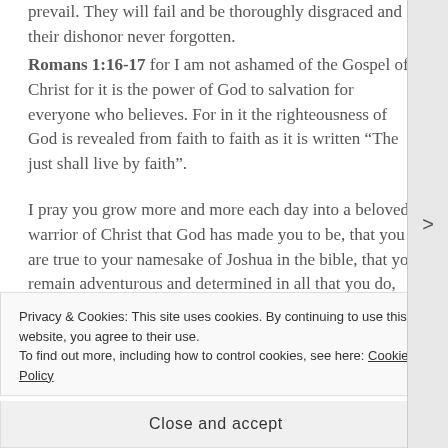prevail. They will fail and be thoroughly disgraced and their dishonor never forgotten. Romans 1:16-17 for I am not ashamed of the Gospel of Christ for it is the power of God to salvation for everyone who believes. For in it the righteousness of God is revealed from faith to faith as it is written “The just shall live by faith”.
I pray you grow more and more each day into a beloved warrior of Christ that God has made you to be, that you are true to your namesake of Joshua in the bible, that you remain adventurous and determined in all that you do, you amaze me with your intelligence and generosity for others, I pray you continue to be compassionate
Privacy & Cookies: This site uses cookies. By continuing to use this website, you agree to their use.
To find out more, including how to control cookies, see here: Cookie Policy
Close and accept